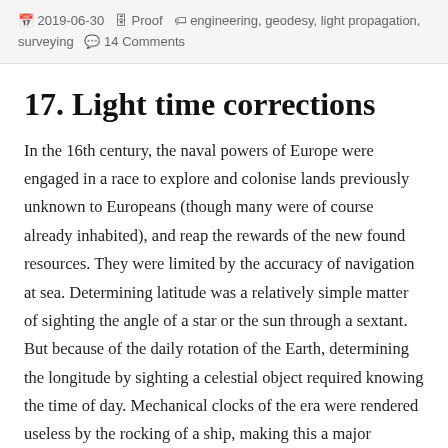2019-06-30  Proof  engineering, geodesy, light propagation, surveying  14 Comments
17. Light time corrections
In the 16th century, the naval powers of Europe were engaged in a race to explore and colonise lands previously unknown to Europeans (though many were of course already inhabited), and reap the rewards of the new found resources. They were limited by the accuracy of navigation at sea. Determining latitude was a relatively simple matter of sighting the angle of a star or the sun through a sextant. But because of the daily rotation of the Earth, determining the longitude by sighting a celestial object required knowing the time of day. Mechanical clocks of the era were rendered useless by the rocking of a ship, making this a major problem.